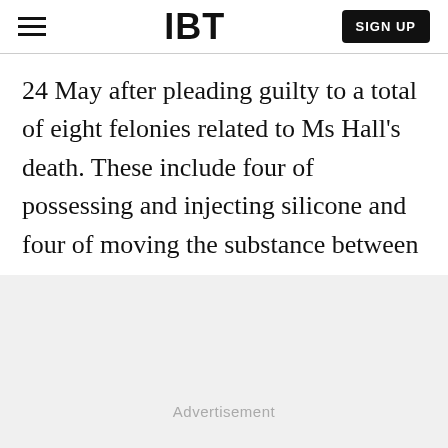IBT | SIGN UP
24 May after pleading guilty to a total of eight felonies related to Ms Hall's death. These include four of possessing and injecting silicone and four of moving the substance between states.
Advertisement